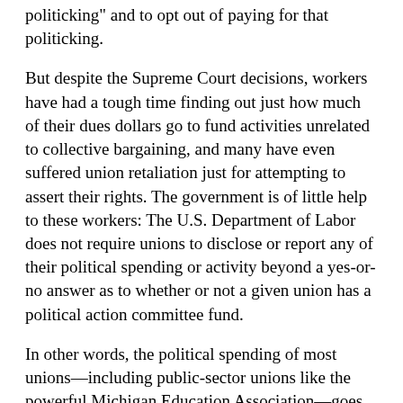politicking" and to opt out of paying for that politicking.
But despite the Supreme Court decisions, workers have had a tough time finding out just how much of their dues dollars go to fund activities unrelated to collective bargaining, and many have even suffered union retaliation just for attempting to assert their rights.  The government is of little help to these workers: The U.S. Department of Labor does not require unions to disclose or report any of their political spending or activity beyond a yes-or-no answer as to whether or not a given union has a political action committee fund.
In other words, the political spending of most unions—including public-sector unions like the powerful Michigan Education Association—goes largely unreported.  At a time when the issue of campaign finance reform is occupying a large amount of politicians and pundits' time, the "elephant in the living room" fact of union politicking fails to attract much public attention.